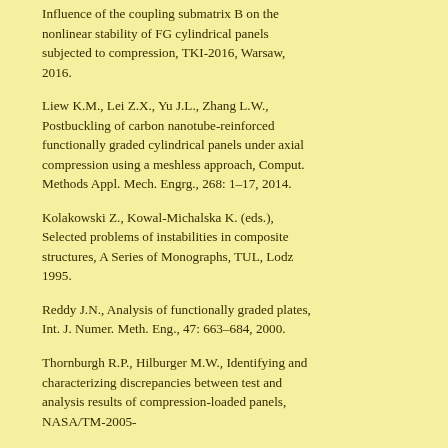Influence of the coupling submatrix B on the nonlinear stability of FG cylindrical panels subjected to compression, TKI-2016, Warsaw, 2016.
Liew K.M., Lei Z.X., Yu J.L., Zhang L.W., Postbuckling of carbon nanotube-reinforced functionally graded cylindrical panels under axial compression using a meshless approach, Comput. Methods Appl. Mech. Engrg., 268: 1–17, 2014.
Kolakowski Z., Kowal-Michalska K. (eds.), Selected problems of instabilities in composite structures, A Series of Monographs, TUL, Lodz 1995.
Reddy J.N., Analysis of functionally graded plates, Int. J. Numer. Meth. Eng., 47: 663–684, 2000.
Thornburgh R.P., Hilburger M.W., Identifying and characterizing discrepancies between test and analysis results of compression-loaded panels, NASA/TM-2005-